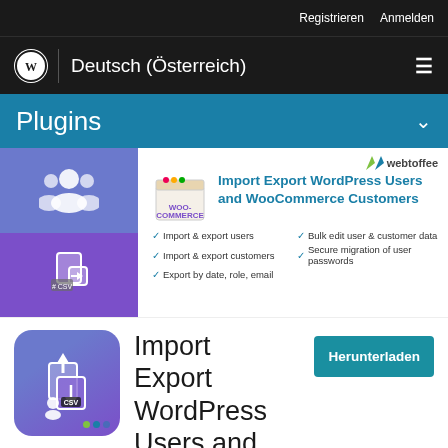Registrieren  Anmelden
Deutsch (Österreich)
Plugins
Import Export WordPress Users and WooCommerce Customers
Import & export users
Import & export customers
Export by date, role, email
Bulk edit user & customer data
Secure migration of user passwords
Import
Export
WordPress Users and
Herunterladen